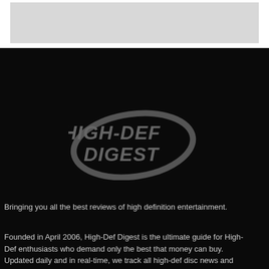[Figure (illustration): Gray placeholder/image area at top of page]
[Figure (logo): High-Def Digest logo in gray italic text with swoosh graphic on dark background]
Bringing you all the best reviews of high definition entertainment.
Founded in April 2006, High-Def Digest is the ultimate guide for High-Def enthusiasts who demand only the best that money can buy. Updated daily and in real-time, we track all high-def disc news and release dates, and review the latest disc titles.
Copyright © 2022 LLC, MH Sub I, LLC dba Internet Brands. All rights reserved.